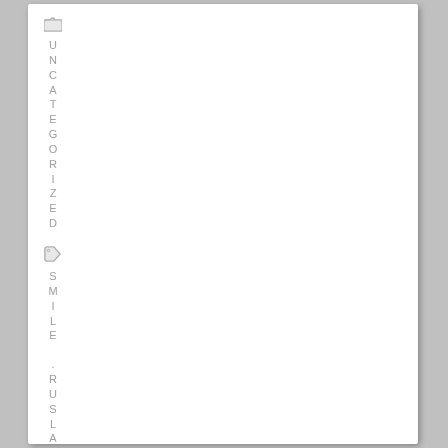[Figure (other): Folder icon (gray, small) at top of left sidebar]
UNCATEGORIZED
[Figure (other): Tag/label icon (gray, small) below UNCATEGORIZED section]
SMILE
.RUSLAN
.I